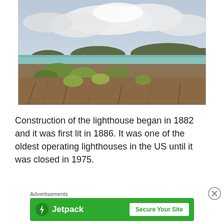[Figure (photo): Landscape photo showing scrubby dry vegetation and bushes in the foreground, a calm bay with turquoise water in the middle distance, low green hills on either side, and a cloudy grey-white sky above.]
Construction of the lighthouse began in 1882 and it was first lit in 1886. It was one of the oldest operating lighthouses in the US until it was closed in 1975.
Advertisements
[Figure (logo): Jetpack advertisement banner with green background, Jetpack logo (lightning bolt icon) on the left with white text 'Jetpack', and a white button on the right reading 'Secure Your Site' in green text.]